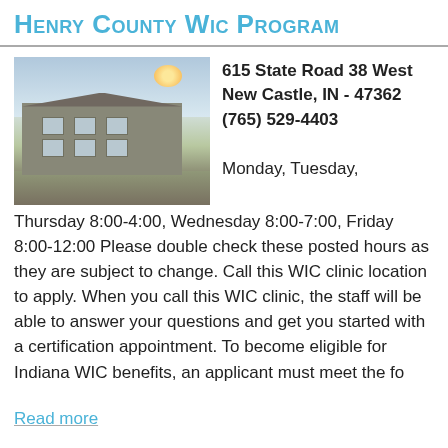Henry County WIC Program
[Figure (photo): Exterior photo of a building at dusk/dawn with sky in background]
615 State Road 38 West
New Castle, IN - 47362
(765) 529-4403
Monday, Tuesday, Thursday 8:00-4:00, Wednesday 8:00-7:00, Friday 8:00-12:00 Please double check these posted hours as they are subject to change. Call this WIC clinic location to apply. When you call this WIC clinic, the staff will be able to answer your questions and get you started with a certification appointment. To become eligible for Indiana WIC benefits, an applicant must meet the fo
Read more